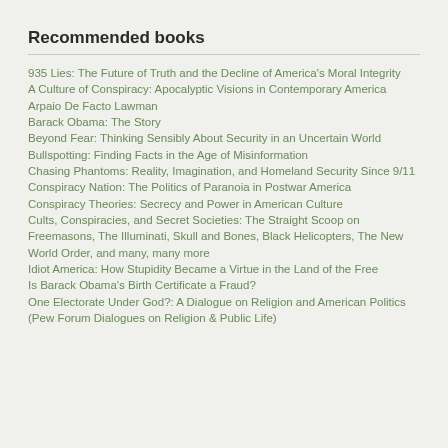Recommended books
935 Lies: The Future of Truth and the Decline of America's Moral Integrity
A Culture of Conspiracy: Apocalyptic Visions in Contemporary America
Arpaio De Facto Lawman
Barack Obama: The Story
Beyond Fear: Thinking Sensibly About Security in an Uncertain World
Bullspotting: Finding Facts in the Age of Misinformation
Chasing Phantoms: Reality, Imagination, and Homeland Security Since 9/11
Conspiracy Nation: The Politics of Paranoia in Postwar America
Conspiracy Theories: Secrecy and Power in American Culture
Cults, Conspiracies, and Secret Societies: The Straight Scoop on Freemasons, The Illuminati, Skull and Bones, Black Helicopters, The New World Order, and many, many more
Idiot America: How Stupidity Became a Virtue in the Land of the Free
Is Barack Obama's Birth Certificate a Fraud?
One Electorate Under God?: A Dialogue on Religion and American Politics (Pew Forum Dialogues on Religion & Public Life)